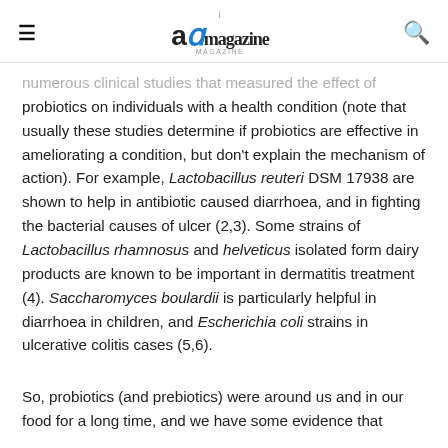≡  [logo: aR magazine]  🔍
numerous clinical studies that measured the effect of probiotics on individuals with a health condition (note that usually these studies determine if probiotics are effective in ameliorating a condition, but don't explain the mechanism of action). For example, Lactobacillus reuteri DSM 17938 are shown to help in antibiotic caused diarrhoea, and in fighting the bacterial causes of ulcer (2,3). Some strains of Lactobacillus rhamnosus and helveticus isolated form dairy products are known to be important in dermatitis treatment (4). Saccharomyces boulardii is particularly helpful in diarrhoea in children, and Escherichia coli strains in ulcerative colitis cases (5,6).
So, probiotics (and prebiotics) were around us and in our food for a long time, and we have some evidence that